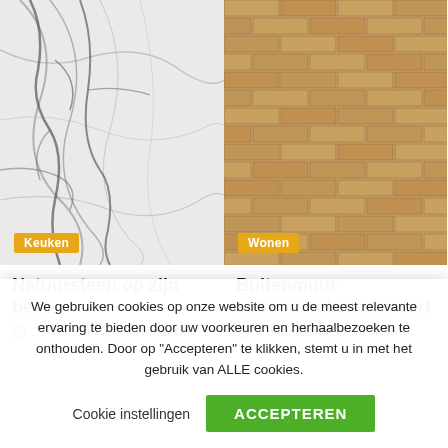[Figure (photo): Cracked marble/stone surface, white with dark veins]
Keuken
Natuursteen op zijn best
2 maanden ago  Redactie
[Figure (photo): Brick wall exterior, tan/orange colored bricks]
Wonen
Buitenmuur schoonmaken van verf
3 maanden ago  admin
We gebruiken cookies op onze website om u de meest relevante ervaring te bieden door uw voorkeuren en herhaalbezoeken te onthouden. Door op "Accepteren" te klikken, stemt u in met het gebruik van ALLE cookies.
Cookie instellingen
ACCEPTEREN